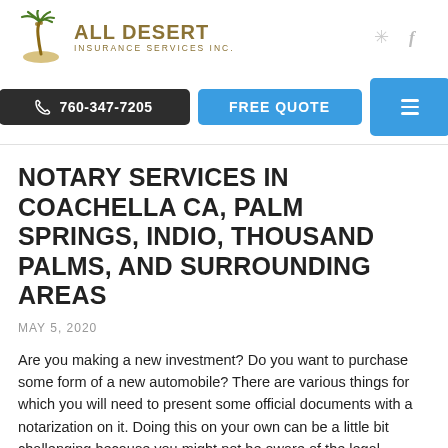[Figure (logo): All Desert Insurance Services Inc. logo with palm tree icon and olive/gold text]
760-347-7205  FREE QUOTE  [menu]
NOTARY SERVICES IN COACHELLA CA, PALM SPRINGS, INDIO, THOUSAND PALMS, AND SURROUNDING AREAS
MAY 5, 2020
Are you making a new investment? Do you want to purchase some form of a new automobile? There are various things for which you will need to present some official documents with a notarization on it. Doing this on your own can be a little bit challenging because you might not be aware of the legal procedures and will be harassed a lot. Instead, if you hire a company that offers